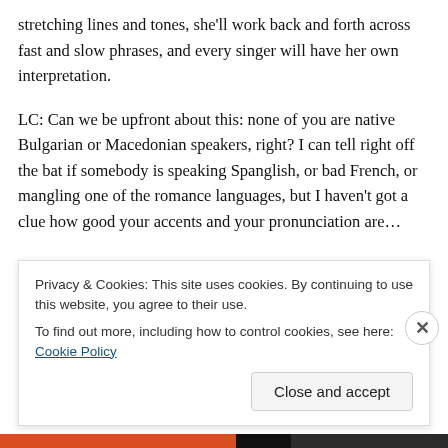stretching lines and tones, she'll work back and forth across fast and slow phrases, and every singer will have her own interpretation.
LC: Can we be upfront about this: none of you are native Bulgarian or Macedonian speakers, right? I can tell right off the bat if somebody is speaking Spanglish, or bad French, or mangling one of the romance languages, but I haven't got a clue how good your accents and your pronunciation are…
CS: Apparently we kick ass in the pronunciation
Privacy & Cookies: This site uses cookies. By continuing to use this website, you agree to their use.
To find out more, including how to control cookies, see here: Cookie Policy